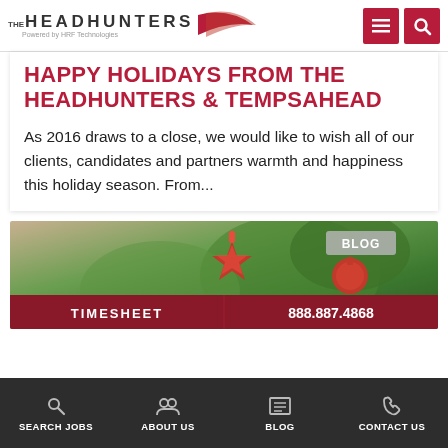[Figure (logo): The Headhunters logo with arrow graphic and 'Powered by HRF Technologies' tagline]
HAPPY HOLIDAYS FROM THE HEADHUNTERS & TEMPSAHEAD
As 2016 draws to a close, we would like to wish all of our clients, candidates and partners warmth and happiness this holiday season. From...
[Figure (photo): Christmas tree with red star ornament photo, with BLOG badge and footer bar showing TIMESHEET and 888.887.4868]
SEARCH JOBS  ABOUT US  BLOG  CONTACT US